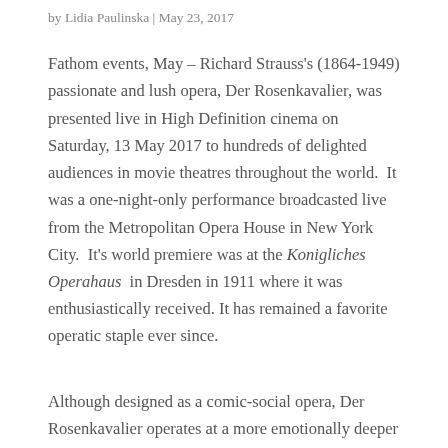by Lidia Paulinska | May 23, 2017
Fathom events, May – Richard Strauss's (1864-1949) passionate and lush opera, Der Rosenkavalier, was presented live in High Definition cinema on Saturday, 13 May 2017 to hundreds of delighted audiences in movie theatres throughout the world.  It was a one-night-only performance broadcasted live from the Metropolitan Opera House in New York City.  It's world premiere was at the Konigliches Operahaus  in Dresden in 1911 where it was enthusiastically received. It has remained a favorite operatic staple ever since.
Although designed as a comic-social opera, Der Rosenkavalier operates at a more emotionally deeper level. The end of the Habsburg's dynasty was right around the corner, and the bitter-sweet quality of